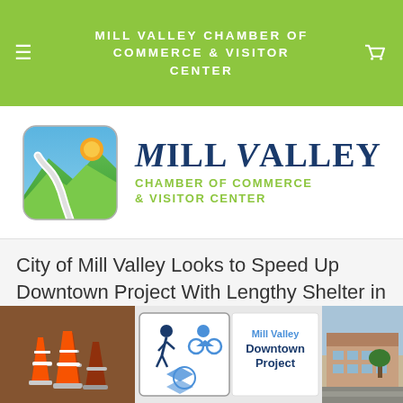MILL VALLEY CHAMBER OF COMMERCE & VISITOR CENTER
[Figure (logo): Mill Valley Chamber of Commerce & Visitor Center logo with mountain/road icon and text]
City of Mill Valley Looks to Speed Up Downtown Project With Lengthy Shelter in PLace Order
4/9/2020   0 Comments
[Figure (photo): Three-image strip showing: orange construction cones, a pedestrian/cyclist/accessibility sign, and a Mill Valley Downtown Project sign, and a street view of downtown buildings]